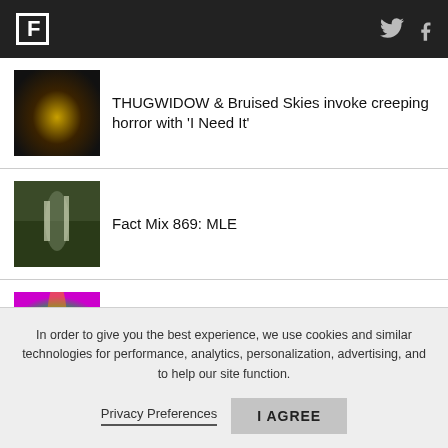F [logo] [twitter icon] [facebook icon]
THUGWIDOW & Bruised Skies invoke creeping horror with 'I Need It'
Fact Mix 869: MLE
Future Shock: Weirdcore
In order to give you the best experience, we use cookies and similar technologies for performance, analytics, personalization, advertising, and to help our site function.
Privacy Preferences   I AGREE